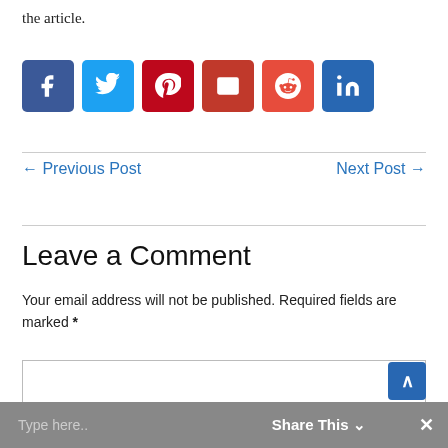the article.
[Figure (infographic): Six social media sharing buttons: Facebook (dark blue), Twitter (light blue), Pinterest (dark red), Email (dark red/orange), Reddit (orange-red), LinkedIn (blue)]
← Previous Post
Next Post →
Leave a Comment
Your email address will not be published. Required fields are marked *